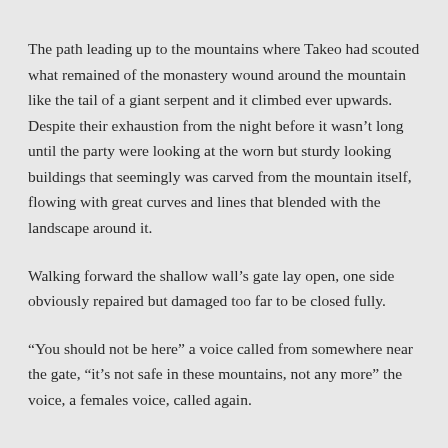The path leading up to the mountains where Takeo had scouted what remained of the monastery wound around the mountain like the tail of a giant serpent and it climbed ever upwards. Despite their exhaustion from the night before it wasn't long until the party were looking at the worn but sturdy looking buildings that seemingly was carved from the mountain itself, flowing with great curves and lines that blended with the landscape around it.
Walking forward the shallow wall's gate lay open, one side obviously repaired but damaged too far to be closed fully.
“You should not be here” a voice called from somewhere near the gate, “it’s not safe in these mountains, not any more” the voice, a females voice, called again.